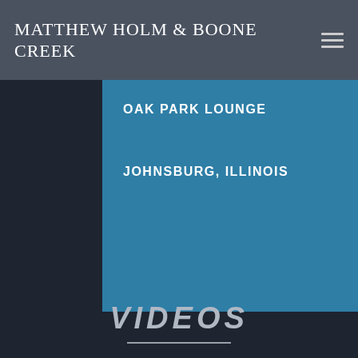MATTHEW HOLM & BOONE CREEK
OAK PARK LOUNGE
JOHNSBURG, ILLINOIS
VIDEOS